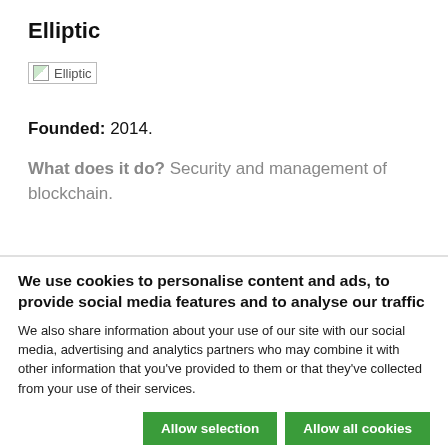Elliptic
[Figure (logo): Elliptic logo placeholder image with broken image icon and text 'Elliptic']
Founded: 2014.
What does it do? Security and management of blockchain.
We use cookies to personalise content and ads, to provide social media features and to analyse our traffic
We also share information about your use of our site with our social media, advertising and analytics partners who may combine it with other information that you've provided to them or that they've collected from your use of their services.
Allow selection   Allow all cookies
Necessary   Preferences   Statistics   Marketing   Show details